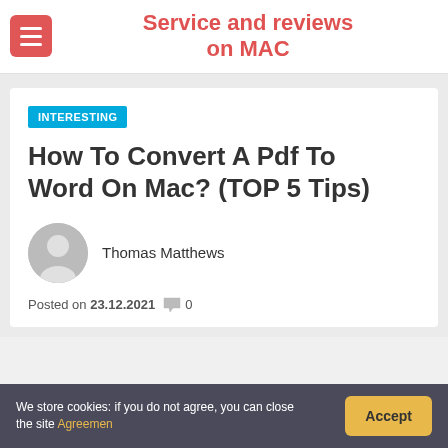Service and reviews on MAC
INTERESTING
How To Convert A Pdf To Word On Mac? (TOP 5 Tips)
Thomas Matthews
Posted on 23.12.2021  0
We store cookies: if you do not agree, you can close the site Agreemen  Accept